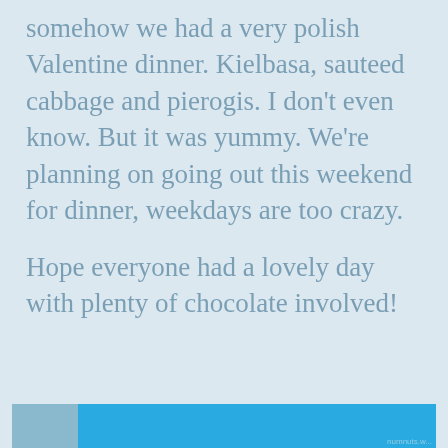somehow we had a very polish Valentine dinner. Kielbasa, sauteed cabbage and pierogis.  I don't even know.  But it was yummy.  We're planning on going out this weekend for dinner, weekdays are too crazy.
Hope everyone had a lovely day with plenty of chocolate involved!
Advertisements
Privacy & Cookies: This site uses cookies. By continuing to use this website, you agree to their use.
To find out more, including how to control cookies, see here: Cookie Policy
Close and accept